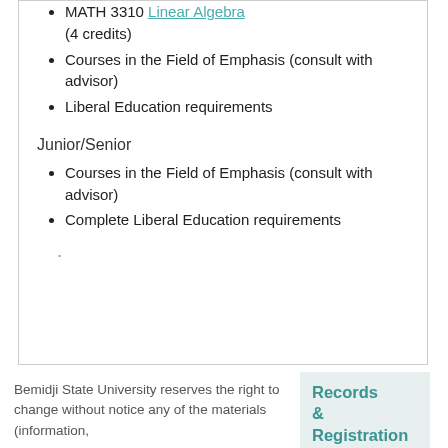MATH 3310 Linear Algebra (4 credits)
Courses in the Field of Emphasis (consult with advisor)
Liberal Education requirements
Junior/Senior
Courses in the Field of Emphasis (consult with advisor)
Complete Liberal Education requirements
Bemidji State University reserves the right to change without notice any of the materials (information,
Records & Registration